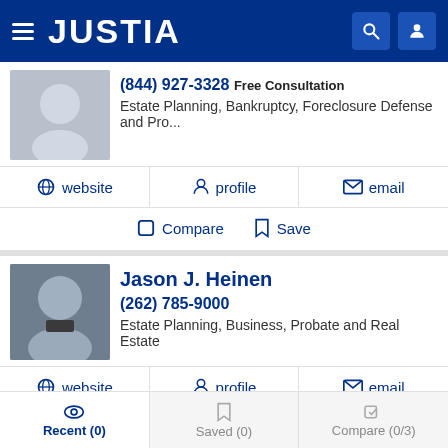JUSTIA
(844) 927-3328 Free Consultation
Estate Planning, Bankruptcy, Foreclosure Defense and Pro...
website | profile | email
Compare | Save
Jason J. Heinen
(262) 785-9000
Estate Planning, Business, Probate and Real Estate
website | profile | email
Compare | Save
Recent (0) | Saved (0) | Compare (0/3)